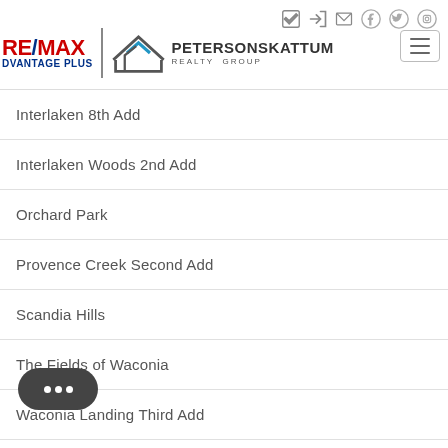RE/MAX Advantage Plus | Peterson Skattum Realty Group
Interlaken 8th Add
Interlaken Woods 2nd Add
Orchard Park
Provence Creek Second Add
Scandia Hills
The Fields of Waconia
Waconia Landing Third Add
Waterford